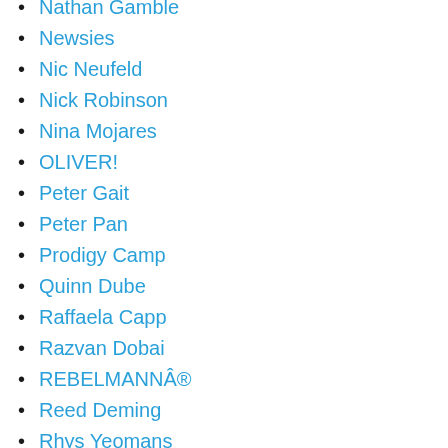Nathan Gamble
Newsies
Nic Neufeld
Nick Robinson
Nina Mojares
OLIVER!
Peter Gait
Peter Pan
Prodigy Camp
Quinn Dube
Raffaela Capp
Razvan Dobai
REBELMANNÂ®
Reed Deming
Rhys Yeomans
Sam Hurwitz
Sam Santiago